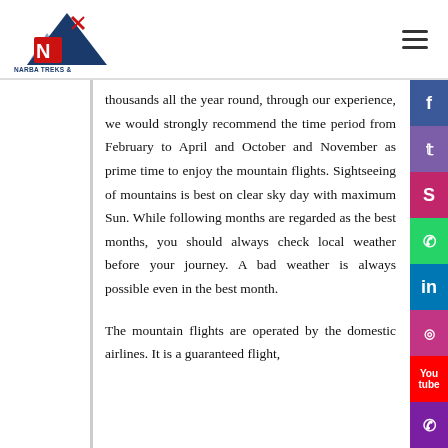[Figure (logo): Narba Treks & Expeditions (P.) Ltd logo with red mountain and pickaxe icon]
thousands all the year round, through our experience, we would strongly recommend the time period from February to April and October and November as prime time to enjoy the mountain flights. Sightseeing of mountains is best on clear sky day with maximum Sun. While following months are regarded as the best months, you should always check local weather before your journey. A bad weather is always possible even in the best month.
The mountain flights are operated by the domestic airlines. It is a guaranteed flight,